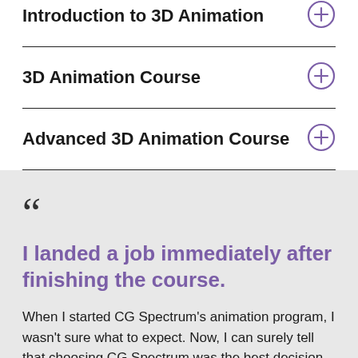Introduction to 3D Animation
3D Animation Course
Advanced 3D Animation Course
“
I landed a job immediately after finishing the course.
When I started CG Spectrum's animation program, I wasn't sure what to expect. Now, I can surely tell that choosing CG Spectrum was the best decision I've ever